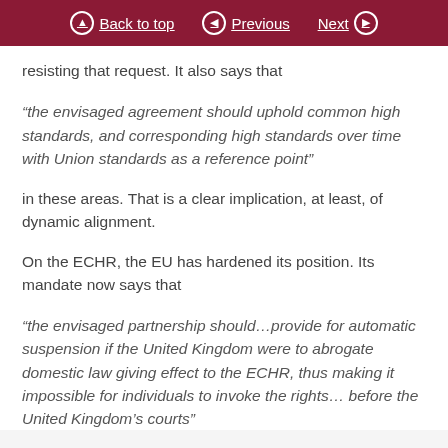Back to top | Previous | Next
resisting that request. It also says that
“the envisaged agreement should uphold common high standards, and corresponding high standards over time with Union standards as a reference point”
in these areas. That is a clear implication, at least, of dynamic alignment.
On the ECHR, the EU has hardened its position. Its mandate now says that
“the envisaged partnership should…provide for automatic suspension if the United Kingdom were to abrogate domestic law giving effect to the ECHR, thus making it impossible for individuals to invoke the rights… before the United Kingdom’s courts”